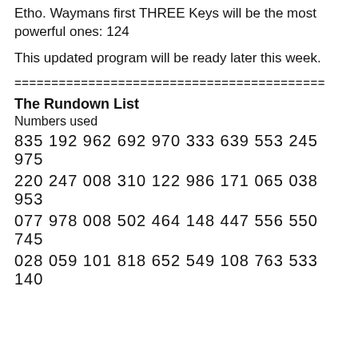Etho. Waymans first THREE Keys will be the most powerful ones: 124
This updated program will be ready later this week.
==========================================
The Rundown List
Numbers used
835 192 962 692 970 333 639 553 245 975
220 247 008 310 122 986 171 065 038 953
077 978 008 502 464 148 447 556 550 745
028 059 101 818 652 549 108 763 533 140